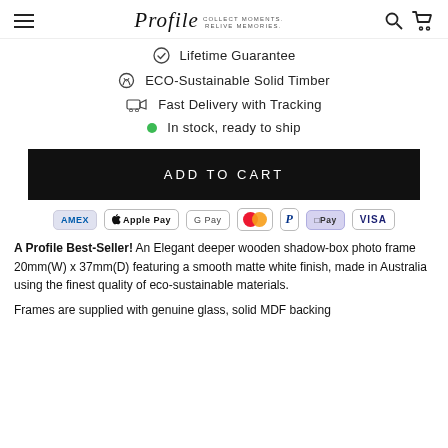Profile COLLECT MOMENTS. RELIVE MEMORIES.
Lifetime Guarantee
ECO-Sustainable Solid Timber
Fast Delivery with Tracking
In stock, ready to ship
ADD TO CART
[Figure (other): Payment method icons: Amex, Apple Pay, Google Pay, Mastercard, PayPal, Shop Pay, Visa]
A Profile Best-Seller! An Elegant deeper wooden shadow-box photo frame 20mm(W) x 37mm(D) featuring a smooth matte white finish, made in Australia using the finest quality of eco-sustainable materials.
Frames are supplied with genuine glass, solid MDF backing